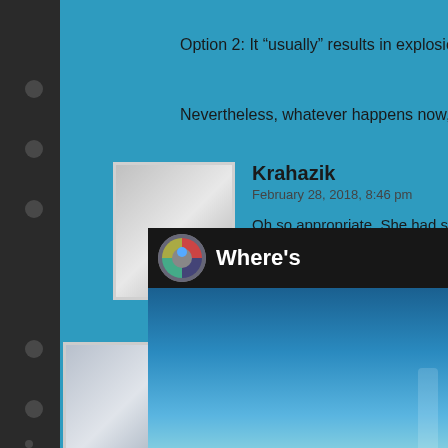Option 2: It “usually” results in explosions
Nevertheless, whatever happens now, I th
Krahazik
February 28, 2018, 8:46 pm
Oh so appropriate. She had some gre
And if he isn’t in the mood at the mo the casulty lists. I am sure that his mo
[Figure (photo): User avatar placeholder gray rectangle for Krahazik]
Wizard
February 27, 2018, 9:44 am | Reply
[Figure (photo): User avatar placeholder gray rectangle for Wizard]
[Figure (screenshot): Video overlay in bottom right showing a circular avatar icon and the text Where's on dark background with blue teal image below]